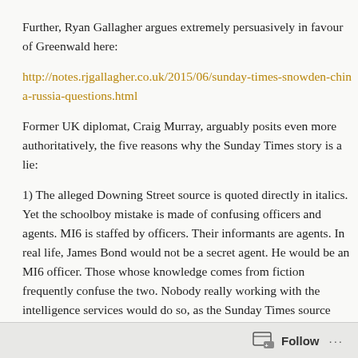Further, Ryan Gallagher argues extremely persuasively in favour of Greenwald here:
http://notes.rjgallagher.co.uk/2015/06/sunday-times-snowden-china-russia-questions.html
Former UK diplomat, Craig Murray, arguably posits even more authoritatively, the five reasons why the Sunday Times story is a lie:
1) The alleged Downing Street source is quoted directly in italics. Yet the schoolboy mistake is made of confusing officers and agents. MI6 is staffed by officers. Their informants are agents. In real life, James Bond would not be a secret agent. He would be an MI6 officer. Those whose knowledge comes from fiction frequently confuse the two. Nobody really working with the intelligence services would do so, as the Sunday Times source does. The story is a lie.
Follow ...